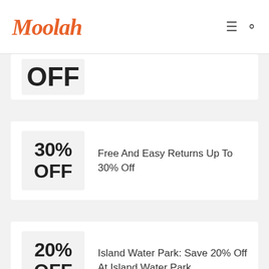Moolah
OFF
30% OFF — Free And Easy Returns Up To 30% Off
20% OFF — Island Water Park: Save 20% Off At Island Water Park